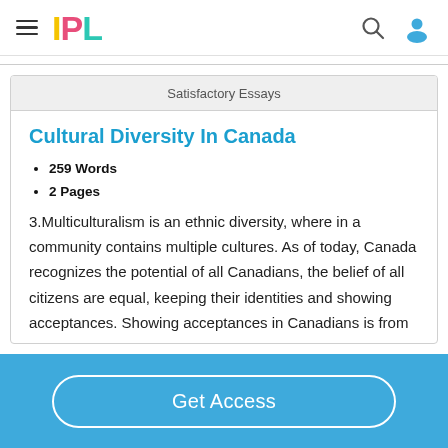IPL
Satisfactory Essays
Cultural Diversity In Canada
259 Words
2 Pages
3.Multiculturalism is an ethnic diversity, where in a community contains multiple cultures. As of today, Canada recognizes the potential of all Canadians, the belief of all citizens are equal, keeping their identities and showing acceptances. Showing acceptances in Canadians is from
Get Access